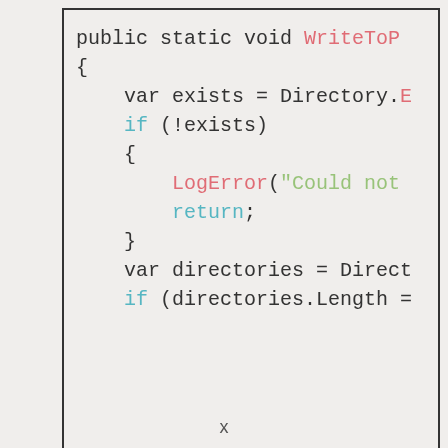[Figure (screenshot): Syntax-highlighted C# code snippet showing a public static void method named WriteToP... with directory existence check, LogError call, return statement, var directories declaration, and if (directories.Length = check.]
x